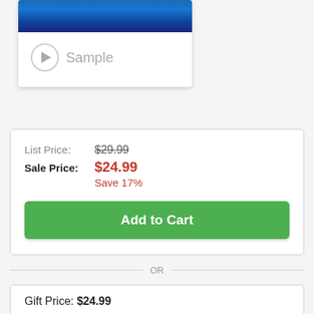[Figure (screenshot): Album/product image card with blue gradient background and a Sample playback button below it]
Sample
List Price: $29.99
Sale Price: $24.99
Save 17%
Add to Cart
OR
Gift Price: $24.99